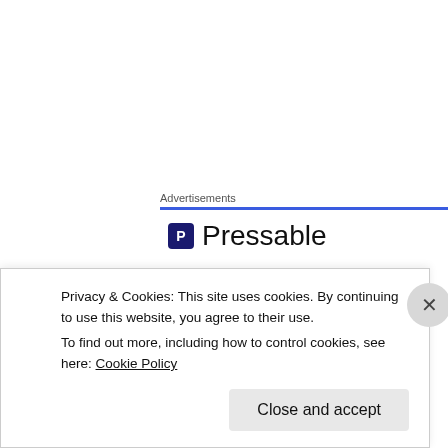Advertisements
[Figure (logo): Pressable logo with icon and dots below]
[Figure (other): Partially visible bold dark blue text, cropped]
FOWC with Fandango — Almost
Almost
Privacy & Cookies: This site uses cookies. By continuing to use this website, you agree to their use.
To find out more, including how to control cookies, see here: Cookie Policy
Close and accept